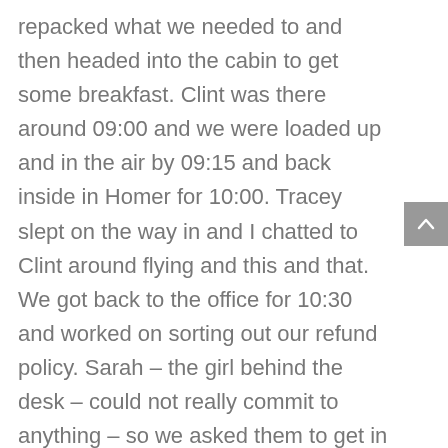repacked what we needed to and then headed into the cabin to get some breakfast. Clint was there around 09:00 and we were loaded up and in the air by 09:15 and back inside in Homer for 10:00. Tracey slept on the way in and I chatted to Clint around flying and this and that. We got back to the office for 10:30 and worked on sorting out our refund policy. Sarah – the girl behind the desk – could not really commit to anything – so we asked them to get in touch with us via email and try get it sorted before too long. It ended up taking about two months but we finally got some money back out of them re the cancellation so it did not work out too bad – it was just annoying not having anything definitely and have to wait so long for a correspondence from them. We left